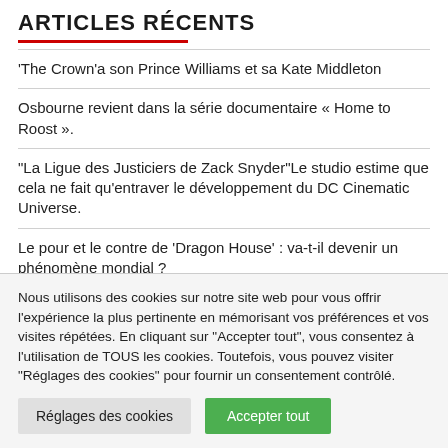ARTICLES RÉCENTS
'The Crown'a son Prince Williams et sa Kate Middleton
Osbourne revient dans la série documentaire « Home to Roost ».
"La Ligue des Justiciers de Zack Snyder"Le studio estime que cela ne fait qu'entraver le développement du DC Cinematic Universe.
Le pour et le contre de 'Dragon House' : va-t-il devenir un phénomène mondial ?
Nous utilisons des cookies sur notre site web pour vous offrir l'expérience la plus pertinente en mémorisant vos préférences et vos visites répétées. En cliquant sur "Accepter tout", vous consentez à l'utilisation de TOUS les cookies. Toutefois, vous pouvez visiter "Réglages des cookies" pour fournir un consentement contrôlé.
Réglages des cookies | Accepter tout